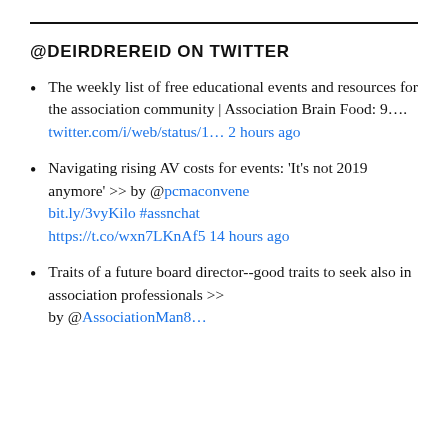@DEIRDREREID ON TWITTER
The weekly list of free educational events and resources for the association community | Association Brain Food: 9…. twitter.com/i/web/status/1… 2 hours ago
Navigating rising AV costs for events: ‘It’s not 2019 anymore’ >> by @pcmaconvene bit.ly/3vyKilo #assnchat https://t.co/wxn7LKnAf5 14 hours ago
Traits of a future board director--good traits to seek also in association professionals >> by @AssociationMan8…